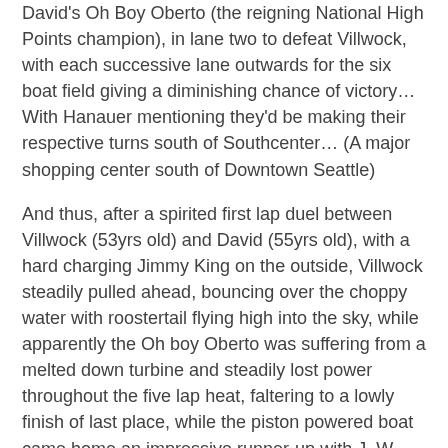David's Oh Boy Oberto (the reigning National High Points champion), in lane two to defeat Villwock, with each successive lane outwards for the six boat field giving a diminishing chance of victory… With Hanauer mentioning they'd be making their respective turns south of Southcenter… (A major shopping center south of Downtown Seattle)
And thus, after a spirited first lap duel between Villwock (53yrs old) and David (55yrs old), with a hard charging Jimmy King on the outside, Villwock steadily pulled ahead, bouncing over the choppy water with roostertail flying high into the sky, while apparently the Oh boy Oberto was suffering from a melted down turbine and steadily lost power throughout the five lap heat, faltering to a lowly finish of last place, while the piston powered boat came home an impressive runner-up with J. W. Meyers in third place.
The win for Villwock gave him an unprecedented total of ten Seafair victories, the most by any driver, eclipsing Chip Hanauer, and was his 59th career victory, moving him withing striking distance of the top two all time winners: Bill Muncey (62) and Hanauer (61). As pointsthrough, Villwock...